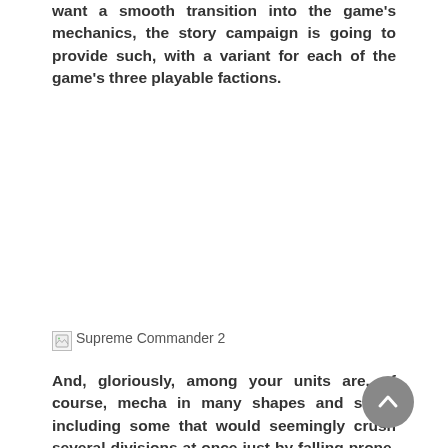want a smooth transition into the game's mechanics, the story campaign is going to provide such, with a variant for each of the game's three playable factions.
[Figure (photo): Broken image placeholder for 'Supreme Commander 2']
And, gloriously, among your units are, of course, mecha in many shapes and sizes, including some that would seemingly crush several divisions at once just by falling prone. If